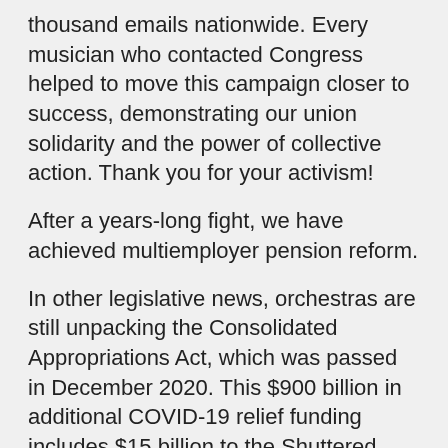thousand emails nationwide. Every musician who contacted Congress helped to move this campaign closer to success, demonstrating our union solidarity and the power of collective action. Thank you for your activism!
After a years-long fight, we have achieved multiemployer pension reform.
In other legislative news, orchestras are still unpacking the Consolidated Appropriations Act, which was passed in December 2020. This $900 billion in additional COVID-19 relief funding includes $15 billion to the Shuttered Venue Operators Grant (SVOG) program and more than $280 billion in new Paycheck Protection Program (PPP) funds. Both programs are overseen by the Small Business Administration (SBA).
Many of our ICSOM orchestras (not all were eligible)